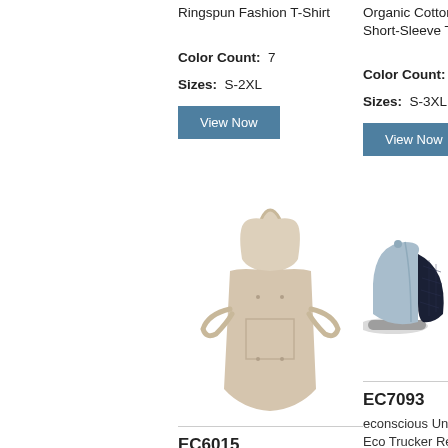Ringspun Fashion T-Shirt
Color Count: 7
Sizes: S-2XL
View Now
Organic Cotton C Short-Sleeve T-Sl
Color Count: 9
Sizes: S-3XL
View Now
[Figure (photo): Beige/natural cotton apron with ties]
EC6015
econscious Organic Cotton Recycled Polyester Eco Apron
Color Count: 3
[Figure (photo): Light blue and navy trucker cap, side view]
EC7093
econscious Unisex Eco Trucker Recycled Polyester Mesh Cap
Color Count: 6